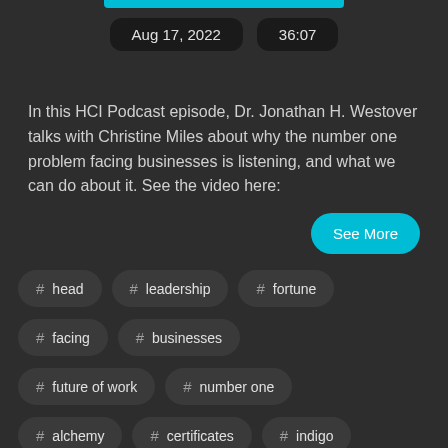Aug 17, 2022    36:07
In this HCI Podcast episode, Dr. Jonathan H. Westover talks with Christine Miles about why the number one problem facing businesses is listening, and what we can do about it. See the video here:
See More
# head
# leadership
# fortune
# facing
# businesses
# future of work
# number one
# alchemy
# certificates
# indigo
# betterhelp
# zapier